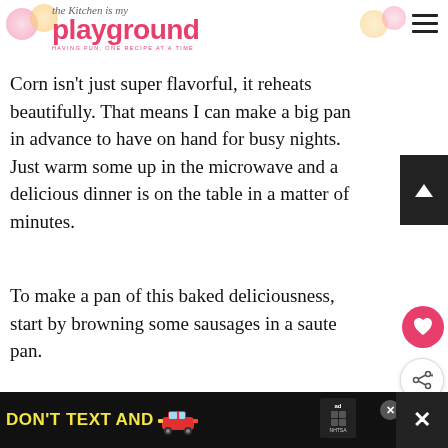the Kitchen is my playground — HAVING FUN, ONE RECIPE AT A TIME
Corn isn't just super flavorful, it reheats beautifully. That means I can make a big pan in advance to have on hand for busy nights. Just warm some up in the microwave and a delicious dinner is on the table in a matter of minutes.
To make a pan of this baked deliciousness, start by browning some sausages in a saute pan.
You can use spicy or sweet Italian sausage, or bratwurst. Any of them work. Or you could
[Figure (screenshot): DON'T TEXT AND [car emoji] advertisement banner from NHTSA. Black background with yellow and cyan bold text reading DON'T TEXT AND, with a red car illustration and NHTSA ad badge.]